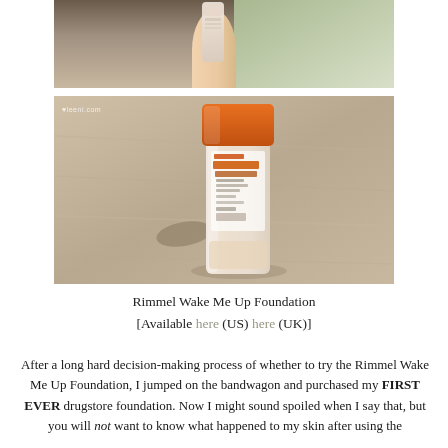[Figure (photo): Top portion: a hand holding what appears to be a foundation bottle, cropped]
[Figure (photo): Rimmel Wake Me Up foundation bottle with orange cap lying on a wooden surface, watermark reads loveleeni.com]
Rimmel Wake Me Up Foundation
[Available here (US) here (UK)]
After a long hard decision-making process of whether to try the Rimmel Wake Me Up Foundation, I jumped on the bandwagon and purchased my FIRST EVER drugstore foundation. Now I might sound spoiled when I say that, but you will not want to know what happened to my skin after using the